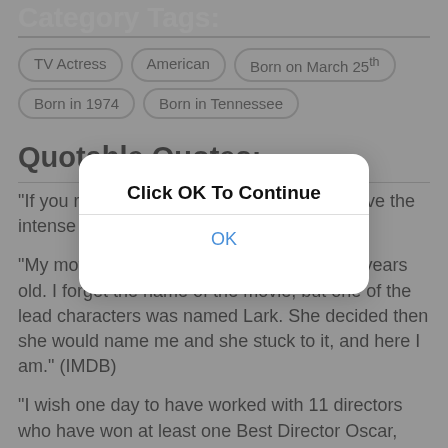Category Tags:
TV Actress
American
Born on March 25th
Born in 1974
Born in Tennessee
Quotable Quotes:
"If you reach for the sun, you'll have to survive the intense heat and radiation."
"My mother saw a movie when she was 14 years old. I forget the name of the movie, but one of the lead characters was named Lark. She decided then she would name me and she stuck to it, and here I am." (IMDB)
"I wish one day to have worked with 11 directors who have won at least one Best Director Oscar, and a few more that have a tattoo."
[Figure (screenshot): Modal dialog overlay with title 'Click OK To Continue' and an OK button]